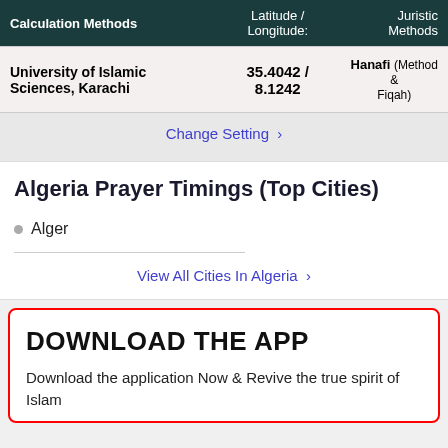| Calculation Methods | Latitude / Longitude: | Juristic Methods |
| --- | --- | --- |
| University of Islamic Sciences, Karachi | 35.4042 / 8.1242 | Hanafi (Method & Fiqah) |
Change Setting >
Algeria Prayer Timings (Top Cities)
Alger
View All Cities In Algeria >
DOWNLOAD THE APP
Download the application Now & Revive the true spirit of Islam